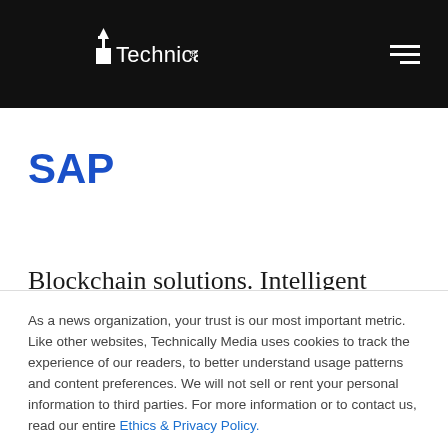Technically
SAP
Blockchain solutions. Intelligent enterprise. Machine learning. IoT solutions. SAP makes
As a news organization, your trust is our most important metric. Like other websites, Technically Media uses cookies to track the experience of our readers, to better understand usage patterns and content preferences. We will not sell or rent your personal information to third parties. For more information or to contact us, read our entire Ethics & Privacy Policy.
Close